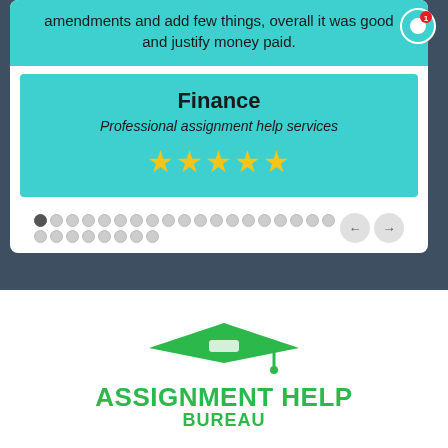amendments and add few things, overall it was good and justify money paid.
Finance
Professional assignment help services
[Figure (illustration): Five yellow star rating icons]
[Figure (logo): Assignment Help Bureau logo with graduation cap icon and green text]